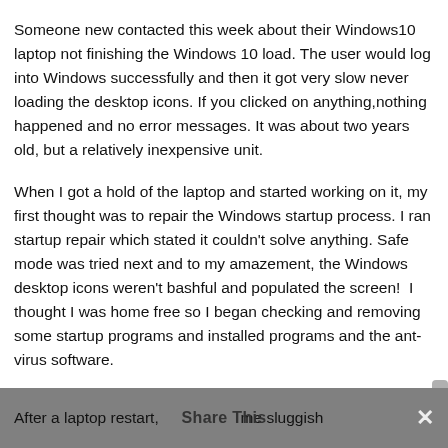Someone new contacted this week about their Windows10 laptop not finishing the Windows 10 load. The user would log into Windows successfully and then it got very slow never loading the desktop icons. If you clicked on anything,nothing happened and no error messages. It was about two years old, but a relatively inexpensive unit.
When I got a hold of the laptop and started working on it, my first thought was to repair the Windows startup process. I ran startup repair which stated it couldn't solve anything. Safe mode was tried next and to my amazement, the Windows desktop icons weren't bashful and populated the screen!  I thought I was home free so I began checking and removing some startup programs and installed programs and the ant-virus software.
After a laptop restart, it was the same sluggish